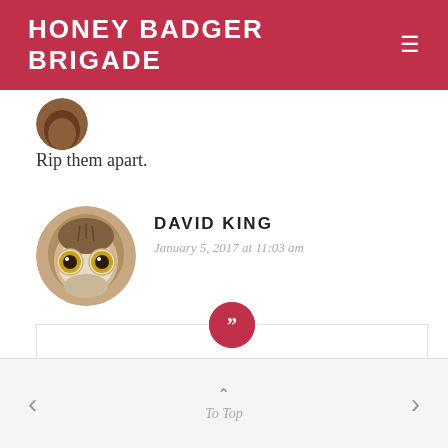HONEY BADGER BRIGADE
Rip them apart.
DAVID KING
January 5, 2017 at 11:03 am
The court has rejected these tactics
To Top